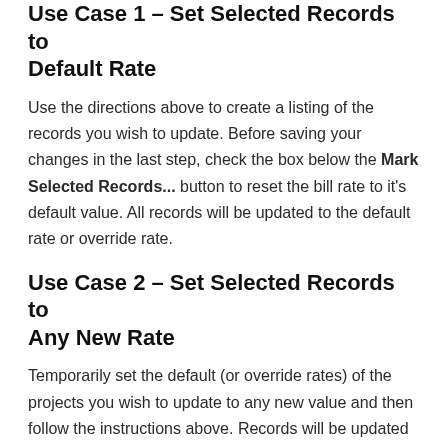Use Case 1 – Set Selected Records to Default Rate
Use the directions above to create a listing of the records you wish to update. Before saving your changes in the last step, check the box below the Mark Selected Records... button to reset the bill rate to it's default value. All records will be updated to the default rate or override rate.
Use Case 2 – Set Selected Records to Any New Rate
Temporarily set the default (or override rates) of the projects you wish to update to any new value and then follow the instructions above. Records will be updated to the new values. After the conversion, you can change the default rates back to original values.
Was this article helpful?